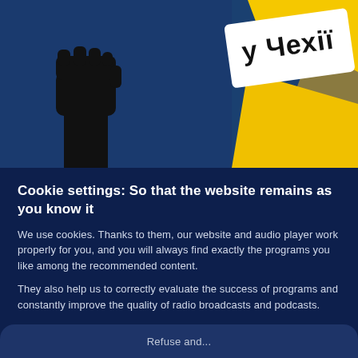[Figure (illustration): A stylized illustration showing a raised black fist on a dark blue background on the left, and on the right a white sign/label with Cyrillic text 'у Чехії' on a yellow geometric background.]
Cookie settings: So that the website remains as you know it
We use cookies. Thanks to them, our website and audio player work properly for you, and you will always find exactly the programs you like among the recommended content.
They also help us to correctly evaluate the success of programs and constantly improve the quality of radio broadcasts and podcasts.
If you are interested, you can read more in our Privacy Policy.
Refuse and...